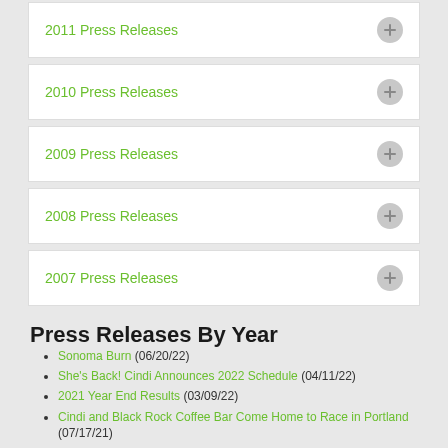2011 Press Releases
2010 Press Releases
2009 Press Releases
2008 Press Releases
2007 Press Releases
Press Releases By Year
Sonoma Burn (06/20/22)
She's Back! Cindi Announces 2022 Schedule (04/11/22)
2021 Year End Results (03/09/22)
Cindi and Black Rock Coffee Bar Come Home to Race in Portland (07/17/21)
Cindi Returns to Trans Am With Victory at The Ridge